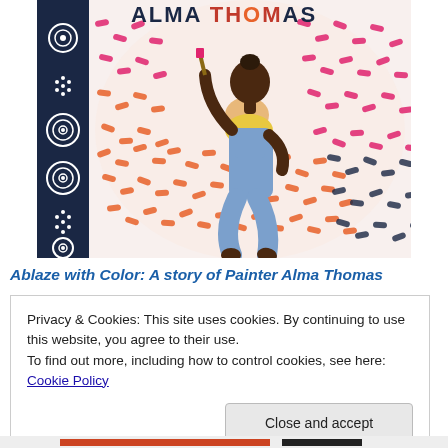[Figure (illustration): Book cover of 'Ablaze with Color: A Story of Painter Alma Thomas' showing an illustrated Black girl in blue overalls painting with her arm raised, against a colorful patterned background of pink, orange, red and dark blue brush strokes in concentric wave patterns, with a dark navy spine decorated with circles and dot patterns.]
Ablaze with Color: A story of Painter Alma Thomas
Privacy & Cookies: This site uses cookies. By continuing to use this website, you agree to their use.
To find out more, including how to control cookies, see here: Cookie Policy
Close and accept